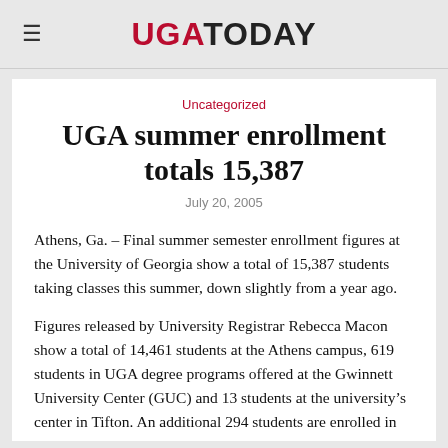UGA TODAY
Uncategorized
UGA summer enrollment totals 15,387
July 20, 2005
Athens, Ga. – Final summer semester enrollment figures at the University of Georgia show a total of 15,387 students taking classes this summer, down slightly from a year ago.
Figures released by University Registrar Rebecca Macon show a total of 14,461 students at the Athens campus, 619 students in UGA degree programs offered at the Gwinnett University Center (GUC) and 13 students at the university's center in Tifton. An additional 294 students are enrolled in independent study.